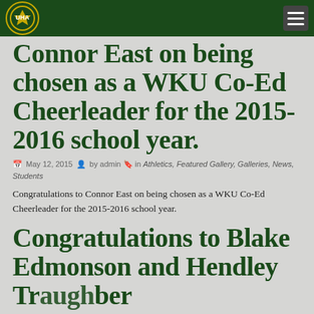UHA
Connor East on being chosen as a WKU Co-Ed Cheerleader for the 2015-2016 school year.
May 12, 2015 by admin in Athletics, Featured Gallery, Galleries, News, Students
Congratulations to Connor East on being chosen as a WKU Co-Ed Cheerleader for the 2015-2016 school year.
Congratulations to Blake Edmonson and Hendley Traughber